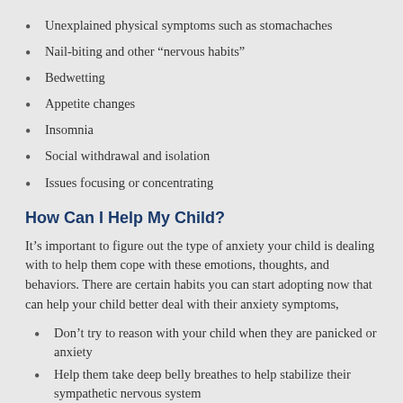Unexplained physical symptoms such as stomachaches
Nail-biting and other “nervous habits”
Bedwetting
Appetite changes
Insomnia
Social withdrawal and isolation
Issues focusing or concentrating
How Can I Help My Child?
It’s important to figure out the type of anxiety your child is dealing with to help them cope with these emotions, thoughts, and behaviors. There are certain habits you can start adopting now that can help your child better deal with their anxiety symptoms,
Don’t try to reason with your child when they are panicked or anxiety
Help them take deep belly breathes to help stabilize their sympathetic nervous system
Validate your child’s fears and listen to them; never dismiss them or tell them to “buck up”
Don’t avoid the fear, which can often make it worse, but help your child face the fear with baby steps (talk to your child’s